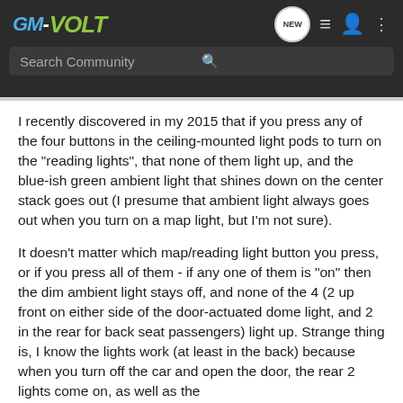[Figure (logo): GM-Volt website logo with blue 'GM', dash, and green 'VOLT' text on dark background header]
[Figure (screenshot): Search bar with 'Search Community' placeholder text and magnifying glass icon on dark background]
I recently discovered in my 2015 that if you press any of the four buttons in the ceiling-mounted light pods to turn on the "reading lights", that none of them light up, and the blue-ish green ambient light that shines down on the center stack goes out (I presume that ambient light always goes out when you turn on a map light, but I'm not sure).
It doesn't matter which map/reading light button you press, or if you press all of them - if any one of them is "on" then the dim ambient light stays off, and none of the 4 (2 up front on either side of the door-actuated dome light, and 2 in the rear for back seat passengers) light up. Strange thing is, I know the lights work (at least in the back) because when you turn off the car and open the door, the rear 2 lights come on, as well as the